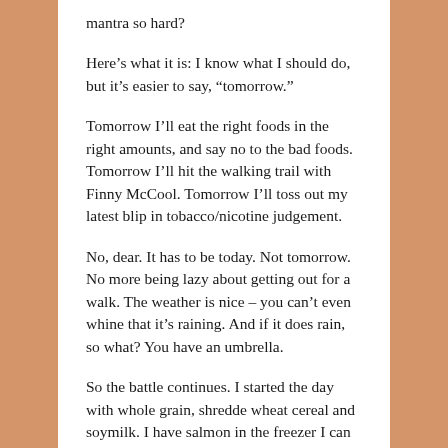mantra so hard?
Here’s what it is: I know what I should do, but it’s easier to say, “tomorrow.”
Tomorrow I’ll eat the right foods in the right amounts, and say no to the bad foods. Tomorrow I’ll hit the walking trail with Finny McCool. Tomorrow I’ll toss out my latest blip in tobacco/nicotine judgement.
No, dear. It has to be today. Not tomorrow. No more being lazy about getting out for a walk. The weather is nice – you can’t even whine that it’s raining. And if it does rain, so what? You have an umbrella.
So the battle continues. I started the day with whole grain, shredde wheat cereal and soymilk. I have salmon in the freezer I can eat for dinner, along with brown rice and fresh asparagus and salad. I have walking shoes and a delightful little dog who would absolutely love to go on a long walk with me. I can go